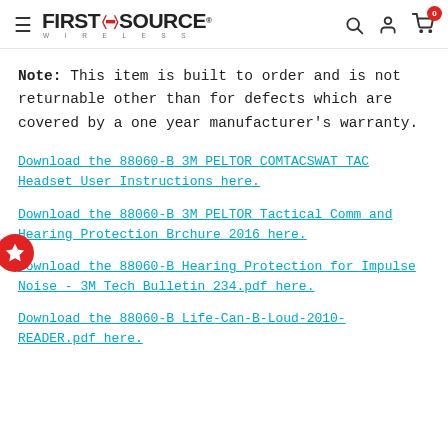First Source Wireless - navigation header with logo, search, account, and cart icons
Note: This item is built to order and is not returnable other than for defects which are covered by a one year manufacturer's warranty.
Download the 88060-B 3M PELTOR COMTACSWAT TAC Headset User Instructions here.
Download the 88060-B 3M PELTOR Tactical Comm and Hearing Protection Brchure 2016 here.
Download the 88060-B Hearing Protection for Impulse Noise - 3M Tech Bulletin 234.pdf here.
Download the 88060-B Life-Can-B-Loud-2010-READER.pdf here.